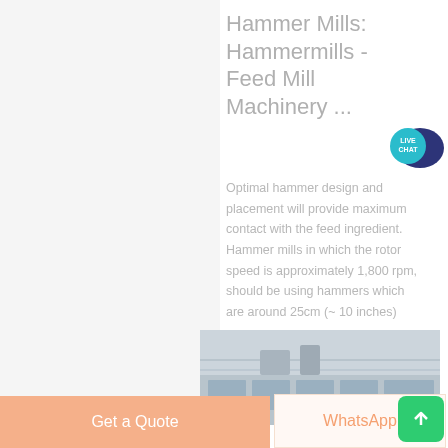Hammer Mills: Hammermills - Feed Mill Machinery ...
Optimal hammer design and placement will provide maximum contact with the feed ingredient. Hammer mills in which the rotor speed is approximately 1,800 rpm, should be using hammers which are around 25cm (~ 10 inches)
[Figure (photo): Industrial building interior with large windows and machinery visible in the background]
Get a Quote
WhatsApp